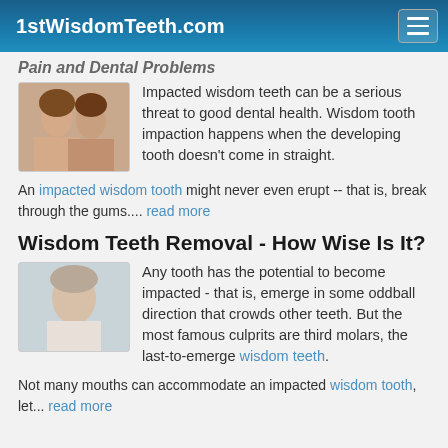1stWisdomTeeth.com
Pain and Dental Problems
[Figure (photo): Two smiling young women]
Impacted wisdom teeth can be a serious threat to good dental health. Wisdom tooth impaction happens when the developing tooth doesn't come in straight.
An impacted wisdom tooth might never even erupt -- that is, break through the gums.... read more
Wisdom Teeth Removal - How Wise Is It?
[Figure (photo): Smiling young man]
Any tooth has the potential to become impacted - that is, emerge in some oddball direction that crowds other teeth. But the most famous culprits are third molars, the last-to-emerge wisdom teeth.
Not many mouths can accommodate an impacted wisdom tooth, let... read more